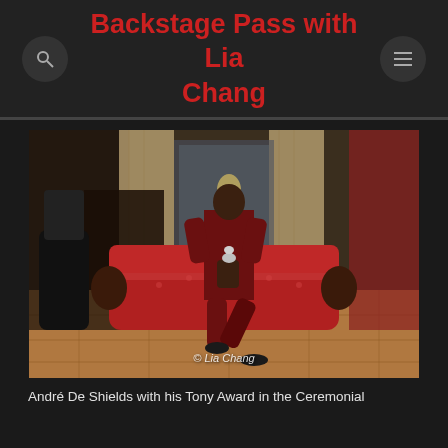Backstage Pass with Lia Chang
[Figure (photo): André De Shields sitting on a red ornate sofa/chaise lounge in a ceremonial room with marble columns and wood paneling, wearing a dark red/maroon suit, holding a Tony Award trophy. The room has red curtains and parquet flooring. Watermark: © Lia Chang]
André De Shields with his Tony Award in the Ceremonial